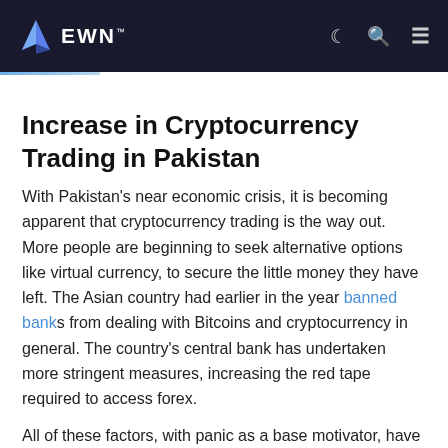EWN
Increase in Cryptocurrency Trading in Pakistan
With Pakistan's near economic crisis, it is becoming apparent that cryptocurrency trading is the way out. More people are beginning to seek alternative options like virtual currency, to secure the little money they have left. The Asian country had earlier in the year banned banks from dealing with Bitcoins and cryptocurrency in general. The country's central bank has undertaken more stringent measures, increasing the red tape required to access forex.
All of these factors, with panic as a base motivator, have pushed residents towards Bitcoin this year. This enables them to hedge their what little wealth they have left against an